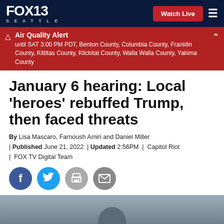FOX 13 SEATTLE | Watch Live
Air Quality Alert until SAT 3:00 PM PDT, Benton County, Columbia County, Franklin County, Kittitas County, Klickitat County, Walla Walla County, Yakima County
January 6 hearing: Local 'heroes' rebuffed Trump, then faced threats
By Lisa Mascaro, Farnoush Amiri and Daniel Miller | Published June 21, 2022 | Updated 2:56PM | Capitol Riot | FOX TV Digital Team
[Figure (other): Social sharing icons row: Facebook, Twitter, Print, Email]
[Figure (photo): Photograph of a person, partially visible at bottom of page]